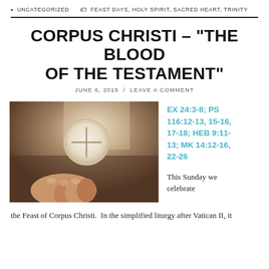UNCATEGORIZED   FEAST DAYS, HOLY SPIRIT, SACRED HEART, TRINITY
CORPUS CHRISTI – “THE BLOOD OF THE TESTAMENT”
JUNE 6, 2015 / LEAVE A COMMENT
[Figure (photo): Hands holding a communion host (white circular wafer with cross) against a soft blurred background]
EX 24:3-8; PS 116:12-13, 15-16, 17-18; HEB 9:11-13; MK 14:12-16, 22-26
This Sunday we celebrate the Feast of Corpus Christi.  In the simplified liturgy after Vatican II, it